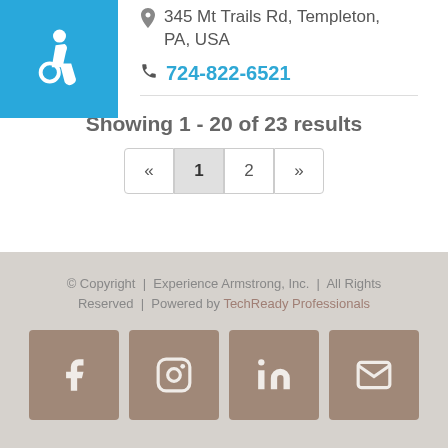345 Mt Trails Rd, Templeton, PA, USA
724-822-6521
Showing 1 - 20 of 23 results
© Copyright | Experience Armstrong, Inc. | All Rights Reserved | Powered by TechReady Professionals